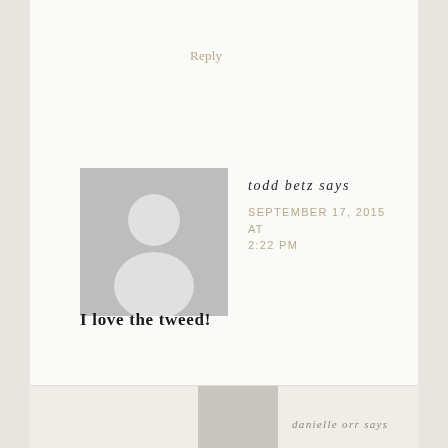Reply
[Figure (illustration): Gray placeholder avatar image showing silhouette of a person]
todd betz says
SEPTEMBER 17, 2015 AT 2:22 PM
I love the tweed!
Reply
danielle orr says